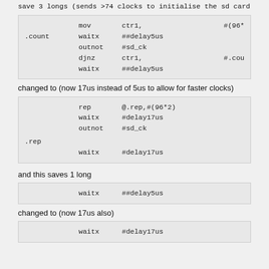save 3 longs (sends >74 clocks to initialise the sd card)
[Figure (other): Assembly code block: mov ctr1, #(96*...; .count waitx ##delay5us; outnot #sd_ck; djnz ctr1, #.cou...; waitx ##delay5us]
changed to (now 17us instead of 5us to allow for faster clocks)
[Figure (other): Assembly code block: rep @.rep, #(96*2); waitx #delay17us; outnot #sd_ck; .rep waitx #delay17us]
and this saves 1 long
[Figure (other): Assembly code block: waitx ##delay5us]
changed to (now 17us also)
[Figure (other): Assembly code block: waitx #delay17us]